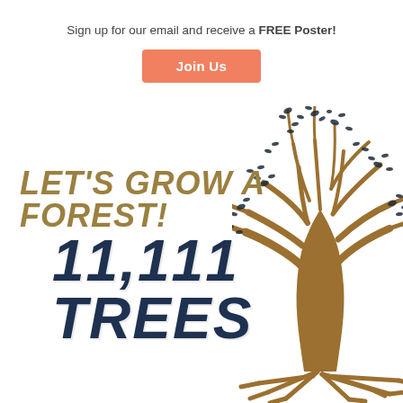×
Sign up for our email and receive a FREE Poster!
Join Us
[Figure (illustration): Promotional banner with a stylized tree illustration on the right side, large bold italic text reading 'LET'S GROW A FOREST!' in golden/tan color, and below it '11,111 TREES' in large dark navy distressed bold italic font.]